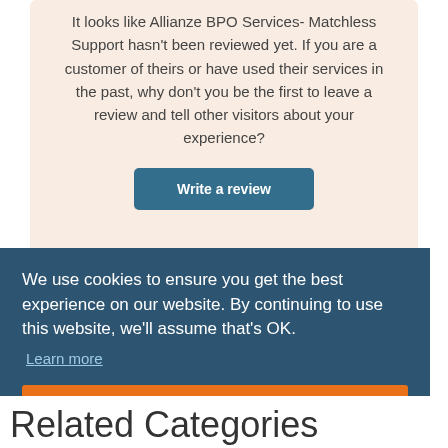It looks like Allianze BPO Services- Matchless Support hasn't been reviewed yet. If you are a customer of theirs or have used their services in the past, why don't you be the first to leave a review and tell other visitors about your experience?
Write a review
We use cookies to ensure you get the best experience on our website. By continuing to use this website, we'll assume that's OK.
Learn more
OK
Related Categories